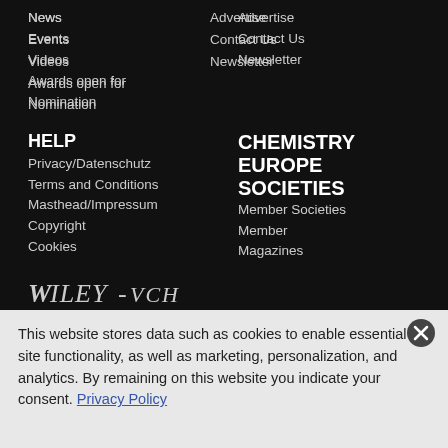News
Advertise
Events
Contact Us
Videos
Newsletter
Awards open for Nomination
HELP
Privacy/Datenschutz
Terms and Conditions
Masthead/Impressum
Copyright
Cookies
CHEMISTRY EUROPE SOCIETIES
Member Societies
Member Magazines
[Figure (logo): Wiley-VCH logo in white/gray serif italic text on black background]
This website stores data such as cookies to enable essential site functionality, as well as marketing, personalization, and analytics. By remaining on this website you indicate your consent. Privacy Policy